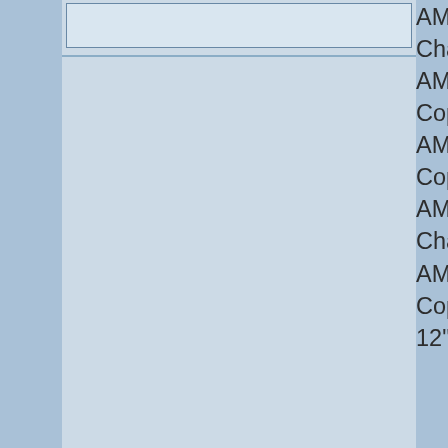[Figure (photo): Partially visible product image placeholder at the top of the page (cropped), light blue background with border]
AM31...
Charc...
AM31...
Copp...
AM32...
Copp...
AM30...
Charc...
AM30...
Copp...
12"
[Figure (photo): Anchor Split Bottom decorative metal hook/hanger with anchor motif design, black metal with scrollwork]
AM32372
Anchor Split Btm -
Charcoa...
Anch...
Btm -
Charc...
Ackfe...
Manu...
Bellp...
Ackfe...
Manu...
Metal...
Coate...
Vein

Also a...
AM29...
Charc...